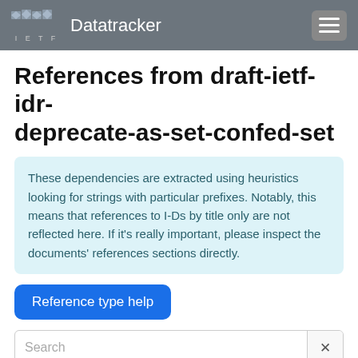IETF Datatracker
References from draft-ietf-idr-deprecate-as-set-confed-set
These dependencies are extracted using heuristics looking for strings with particular prefixes. Notably, this means that references to I-Ds by title only are not reflected here. If it's really important, please inspect the documents' references sections directly.
Reference type help
| Document | Title | Status | Ty |
| --- | --- | --- | --- |